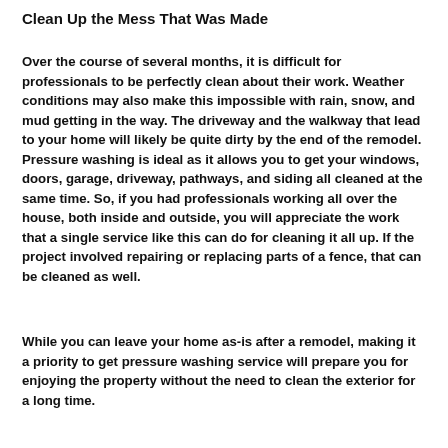Clean Up the Mess That Was Made
Over the course of several months, it is difficult for professionals to be perfectly clean about their work. Weather conditions may also make this impossible with rain, snow, and mud getting in the way. The driveway and the walkway that lead to your home will likely be quite dirty by the end of the remodel. Pressure washing is ideal as it allows you to get your windows, doors, garage, driveway, pathways, and siding all cleaned at the same time. So, if you had professionals working all over the house, both inside and outside, you will appreciate the work that a single service like this can do for cleaning it all up. If the project involved repairing or replacing parts of a fence, that can be cleaned as well.
While you can leave your home as-is after a remodel, making it a priority to get pressure washing service will prepare you for enjoying the property without the need to clean the exterior for a long time.